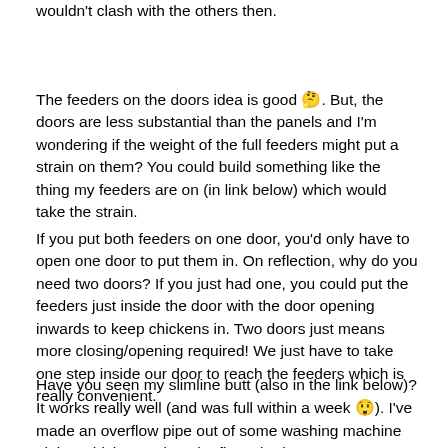wouldn't clash with the others then.
The feeders on the doors idea is good 🤔. But, the doors are less substantial than the panels and I'm wondering if the weight of the full feeders might put a strain on them? You could build something like the thing my feeders are on (in link below) which would take the strain.
If you put both feeders on one door, you'd only have to open one door to put them in. On reflection, why do you need two doors? If you just had one, you could put the feeders just inside the door with the door opening inwards to keep chickens in. Two doors just means more closing/opening required! We just have to take one step inside our door to reach the feeders which is really convenient.
Have you seen my slimline butt (also in the link below)? It works really well (and was full within a week 😲). I've made an overflow pipe out of some washing machine piping which goes into the flowerbeds.